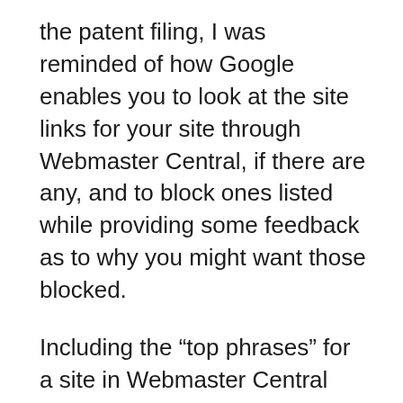the patent filing, I was reminded of how Google enables you to look at the site links for your site through Webmaster Central, if there are any, and to block ones listed while providing some feedback as to why you might want those blocked.
Including the “top phrases” for a site in Webmaster Central would be a nice addition.
A negative keyword list isn’t covered in the patent application, but I think it might be an idea that Google should explore as well. Webmaster Central does tell us about some of the queries that our sites are being found